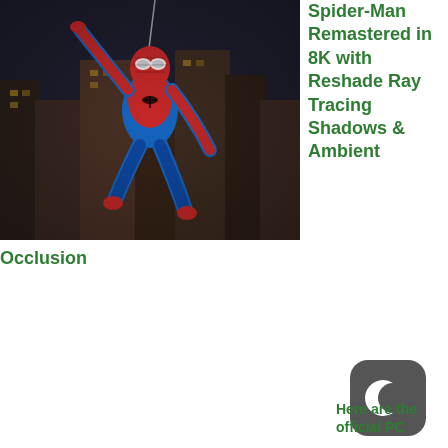[Figure (photo): Spider-Man character swinging through a city, photographed from below at an angle, wearing the classic red and blue suit. Urban buildings visible in background with motion blur effect.]
Spider-Man Remastered in 8K with Reshade Ray Tracing Shadows & Ambient Occlusion
[Figure (logo): Dark rounded square icon with a white crescent moon shape on it, resembling a night mode or dark mode app icon.]
Here are the official PC